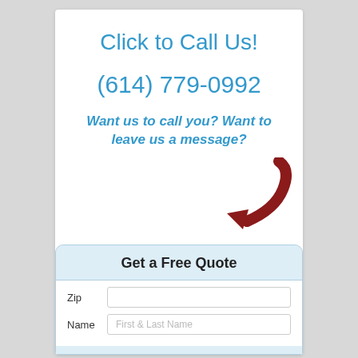Click to Call Us!
(614) 779-0992
Want us to call you? Want to leave us a message?
[Figure (illustration): Red curved arrow pointing down-left toward the form below]
Get a Free Quote
Zip
Name | First & Last Name